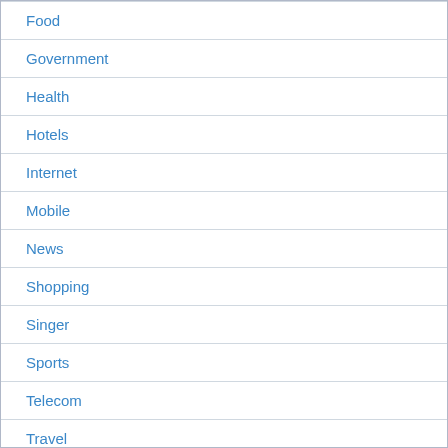Food
Government
Health
Hotels
Internet
Mobile
News
Shopping
Singer
Sports
Telecom
Travel
Uncategorized
YouTuber